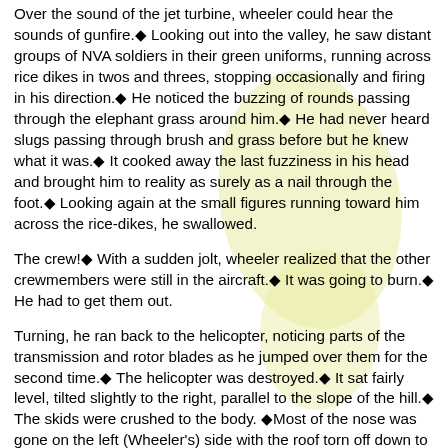Over the sound of the jet turbine, wheeler could hear the sounds of gunfire.◆ Looking out into the valley, he saw distant groups of NVA soldiers in their green uniforms, running across rice dikes in twos and threes, stopping occasionally and firing in his direction.◆ He noticed the buzzing of rounds passing through the elephant grass around him.◆ He had never heard slugs passing through brush and grass before but he knew what it was.◆ It cooked away the last fuzziness in his head and brought him to reality as surely as a nail through the foot.◆ Looking again at the small figures running toward him across the rice-dikes, he swallowed.
The crew!◆ With a sudden jolt, wheeler realized that the other crewmembers were still in the aircraft.◆ It was going to burn.◆ He had to get them out.
Turning, he ran back to the helicopter, noticing parts of the transmission and rotor blades as he jumped over them for the second time.◆ The helicopter was destroyed.◆ It sat fairly level, tilted slightly to the right, parallel to the slope of the hill.◆ The skids were crushed to the body. ◆Most of the nose was gone on the left (Wheeler's) side with the roof torn off down to the instrument panel.◆ The tail was broken and